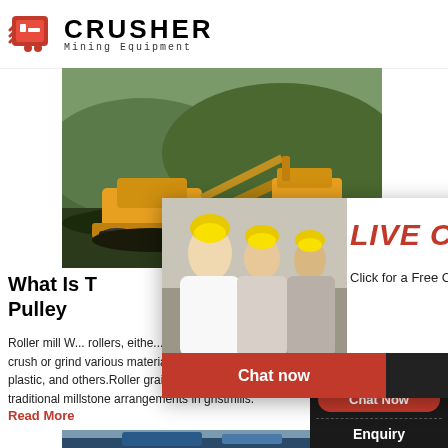[Figure (logo): Crusher Mining Equipment logo with red shopping bag icon and bold black text]
[Figure (photo): Outdoor photo of yellow mining crusher equipment on a hillside with excavator]
What Is T... Pulley
Roller mill W... rollers, eithe... crush or grind various materials, such as grain, c... plastic, and others.Roller grain mills are an alte... traditional millstone arrangements in gristmills.
Read More
[Figure (photo): Blue industrial crusher machine outdoors]
[Figure (photo): 24Hrs Online sidebar with customer service representative wearing headset]
[Figure (infographic): Live Chat popup overlay with workers in hard hats, LIVE CHAT text in red italic, Chat now and Chat later buttons]